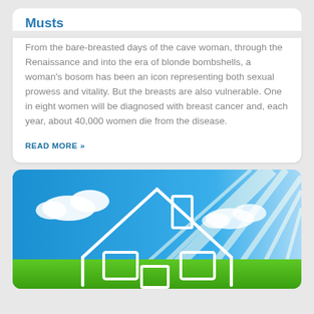Musts
From the bare-breasted days of the cave woman, through the Renaissance and into the era of blonde bombshells, a woman's bosom has been an icon representing both sexual prowess and vitality. But the breasts are also vulnerable. One in eight women will be diagnosed with breast cancer and, each year, about 40,000 women die from the disease.
READ MORE »
[Figure (photo): A house outline illustration overlaid on a blue sky with clouds and green grass background, with sun rays in the upper right corner.]